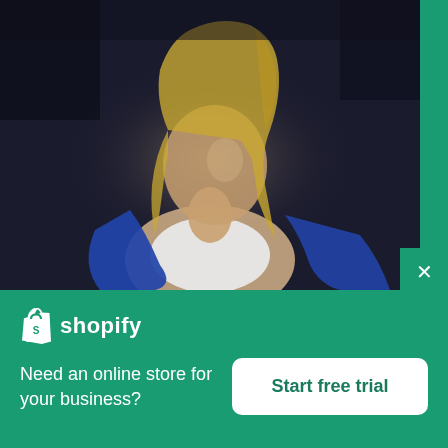[Figure (photo): Fashion photo of a blonde woman in a white bandeau top and blue jacket/blazer, posed against a dark navy/grey background, looking to the side with dramatic lighting.]
[Figure (logo): Shopify logo: white shopping bag icon with an 'S' inside, followed by the word 'shopify' in white text.]
Need an online store for your business?
Start free trial